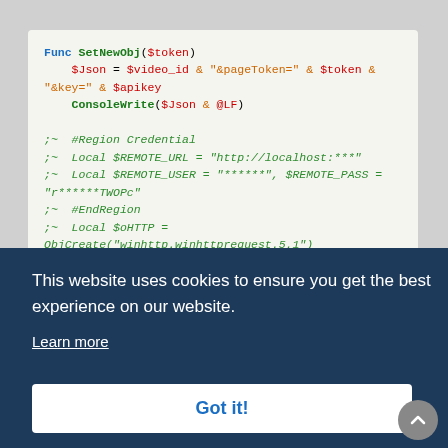[Figure (screenshot): Code editor screenshot showing AutoIt/Basic-like code with syntax highlighting. Blue keyword 'Func', green function name 'SetNewObj', red variables like $token, $Json, $video_id, orange string literals like '&pageToken=', green comments starting with ;~, including region credential section and HTTP object creation.]
This website uses cookies to ensure you get the best experience on our website.
Learn more
Got it!